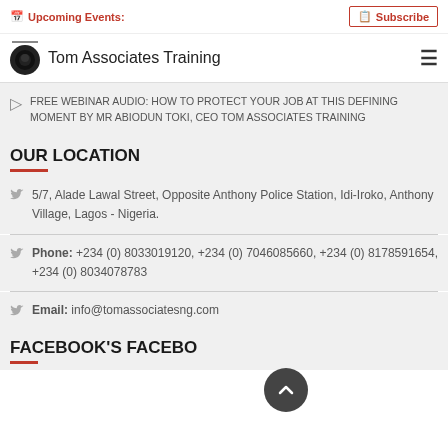Upcoming Events: | Subscribe
Tom Associates Training
FREE WEBINAR AUDIO: HOW TO PROTECT YOUR JOB AT THIS DEFINING MOMENT BY MR ABIODUN TOKI, CEO TOM ASSOCIATES TRAINING
OUR LOCATION
5/7, Alade Lawal Street, Opposite Anthony Police Station, Idi-Iroko, Anthony Village, Lagos - Nigeria.
Phone: +234 (0) 8033019120, +234 (0) 7046085660, +234 (0) 8178591654, +234 (0) 8034078783
Email: info@tomassociatesng.com
FACEBOOK'S FACEBO...